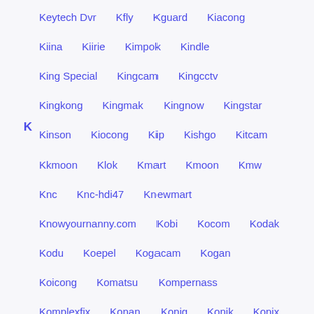Keytech Dvr
Kfly
Kguard
Kiacong
Kiina
Kiirie
Kimpok
Kindle
King Special
Kingcam
Kingcctv
Kingkong
Kingmak
Kingnow
Kingstar
K
Kinson
Kiocong
Kip
Kishgo
Kitcam
Kkmoon
Klok
Kmart
Kmoon
Kmw
Knc
Knc-hdi47
Knewmart
Knowyournanny.com
Kobi
Kocom
Kodak
Kodu
Koepel
Kogacam
Kogan
Koicong
Komatsu
Kompernass
Komplexfix
Konan
Konig
Konik
Konix